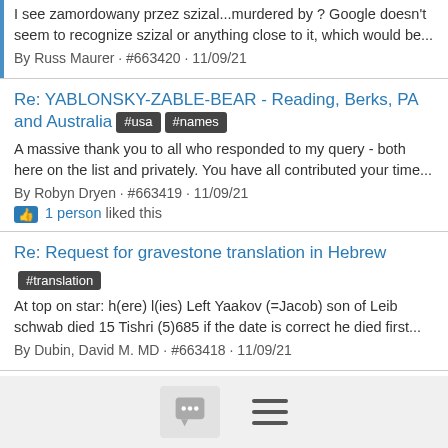I see zamordowany przez szizal...murdered by ? Google doesn't seem to recognize szizal or anything close to it, which would be...
By Russ Maurer · #663420 · 11/09/21
Re: YABLONSKY-ZABLE-BEAR - Reading, Berks, PA and Australia #usa #names
A massive thank you to all who responded to my query - both here on the list and privately. You have all contributed your time...
By Robyn Dryen · #663419 · 11/09/21
1 person liked this
Re: Request for gravestone translation in Hebrew #translation
At top on star: h(ere) l(ies) Left Yaakov (=Jacob) son of Leib schwab died 15 Tishri (5)685 if the date is correct he died first...
By Dubin, David M. MD · #663418 · 11/09/21
Re: polish citizenship passport issued in Warsaw in 1921 #poland
[Figure (other): Bottom navigation bar with chat bubble icon button and hamburger menu icon]